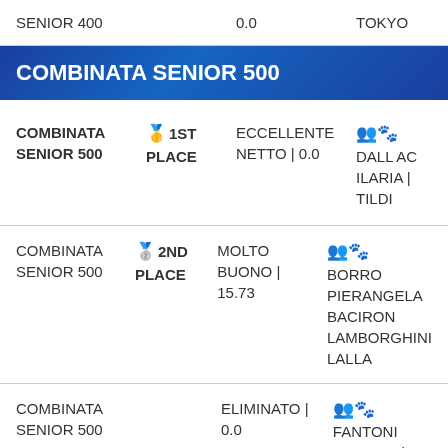| Event | Place | Score | Team |
| --- | --- | --- | --- |
| SENIOR 400 |  | 0.0 | TOKYO |
| COMBINATA SENIOR 500 (header) |  |  |  |
| COMBINATA SENIOR 500 | 1ST PLACE | ECCELLENTE NETTO | 0.0 | DALL AC ILARIA | TILDI |
| COMBINATA SENIOR 500 | 2ND PLACE | MOLTO BUONO | 15.73 | BORRO PIERANGELA BACIRON LAMBORGHINI LALLA |
| COMBINATA SENIOR 500 |  | ELIMINATO | 0.0 | FANTONI DANIELE | INASPETTATA KRISTAL |
| COMBINATA SENIOR 500 |  |  | PARAZZ |